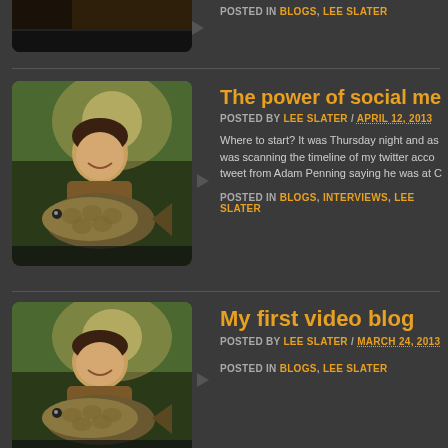POSTED IN BLOGS, LEE SLATER
[Figure (photo): Man holding a large carp fish outdoors near water with green foliage background]
The power of social media a
POSTED BY LEE SLATER / APRIL 12, 2013
Where to start? It was Thursday night and as was scanning the timeline of my twitter acco tweet from Adam Penning saying he was at C
POSTED IN BLOGS, INTERVIEWS, LEE SLATER
[Figure (photo): Man holding a large carp fish outdoors near water with green foliage background]
My first video blog
POSTED BY LEE SLATER / MARCH 24, 2013
POSTED IN BLOGS, LEE SLATER